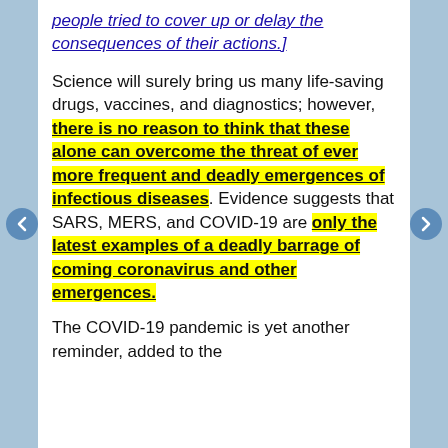people tried to cover up or delay the consequences of their actions.]
Science will surely bring us many life-saving drugs, vaccines, and diagnostics; however, there is no reason to think that these alone can overcome the threat of ever more frequent and deadly emergences of infectious diseases. Evidence suggests that SARS, MERS, and COVID-19 are only the latest examples of a deadly barrage of coming coronavirus and other emergences.
The COVID-19 pandemic is yet another reminder, added to the